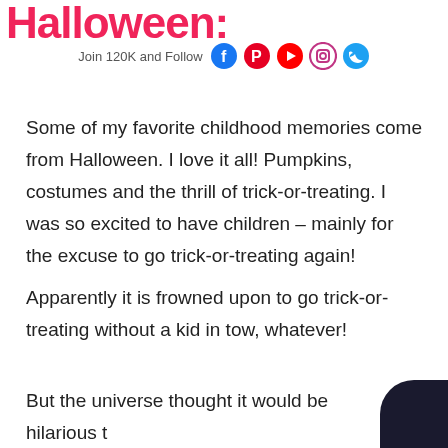Halloween:
Join 120K and Follow [Facebook] [Pinterest] [YouTube] [Instagram] [Twitter]
Some of my favorite childhood memories come from Halloween. I love it all! Pumpkins, costumes and the thrill of trick-or-treating. I was so excited to have children – mainly for the excuse to go trick-or-treating again!
Apparently it is frowned upon to go trick-or-treating without a kid in tow, whatever!
But the universe thought it would be hilarious t